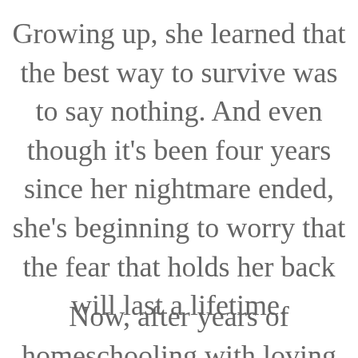Growing up, she learned that the best way to survive was to say nothing. And even though it’s been four years since her nightmare ended, she’s beginning to worry that the fear that holds her back will last a lifetime.
Now, after years of homeschooling with loving adoptive parents